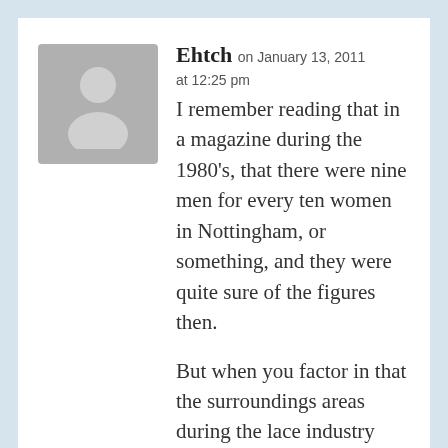[Figure (illustration): Gray silhouette avatar placeholder image showing a generic person outline]
Ehtch on January 13, 2011 at 12:25 pm
I remember reading that in a magazine during the 1980's, that there were nine men for every ten women in Nottingham, or something, and they were quite sure of the figures then.
But when you factor in that the surroundings areas during the lace industry heydays, that males worked in the